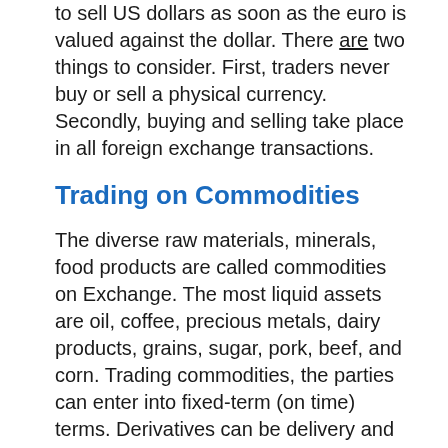to sell US dollars as soon as the euro is valued against the dollar. There are two things to consider. First, traders never buy or sell a physical currency. Secondly, buying and selling take place in all foreign exchange transactions.
Trading on Commodities
The diverse raw materials, minerals, food products are called commodities on Exchange. The most liquid assets are oil, coffee, precious metals, dairy products, grains, sugar, pork, beef, and corn. Trading commodities, the parties can enter into fixed-term (on time) terms. Derivatives can be delivery and settlement. The market for the commodity is highly volatile, so traders prefer to gain on the market movements. The deals on commodity exchanges are divided into transactions for real goods (when there is a supply) and for urgent (speculative). Forward trades are futures contracts, options, and warrants.